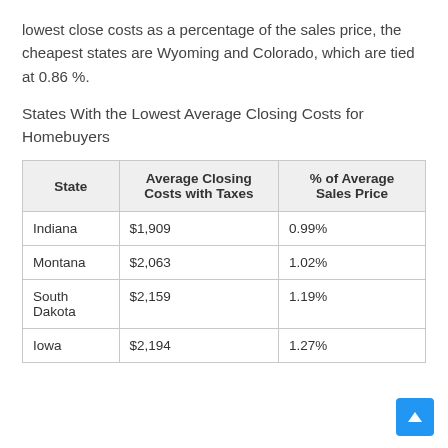lowest close costs as a percentage of the sales price, the cheapest states are Wyoming and Colorado, which are tied at 0.86 %.
States With the Lowest Average Closing Costs for Homebuyers
| State | Average Closing Costs with Taxes | % of Average Sales Price |
| --- | --- | --- |
| Indiana | $1,909 | 0.99% |
| Montana | $2,063 | 1.02% |
| South Dakota | $2,159 | 1.19% |
| Iowa | $2,194 | 1.27% |